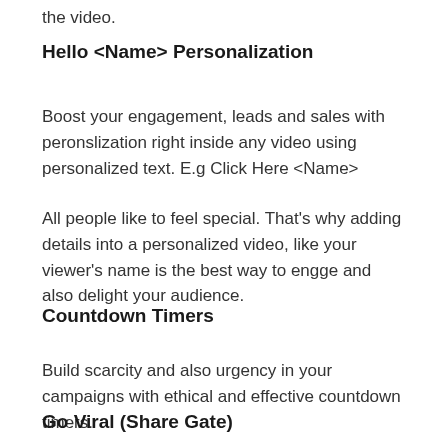the video.
Hello <Name> Personalization
Boost your engagement, leads and sales with peronslization right inside any video using personalized text. E.g Click Here <Name>
All people like to feel special. That's why adding details into a personalized video, like your viewer's name is the best way to engge and also delight your audience.
Countdown Timers
Build scarcity and also urgency in your campaigns with ethical and effective countdown timers.
Go Viral (Share Gate)
Inbuilt viral engine – allows your visitors to share your video and bring you more traffic who will also share and bring more